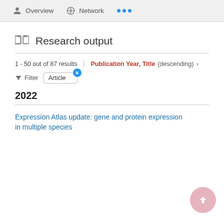Overview   Network   ...
Research output
1 - 50 out of 87 results   Publication Year, Title (descending) >
Filter   Article
2022
Expression Atlas update: gene and protein expression in multiple species